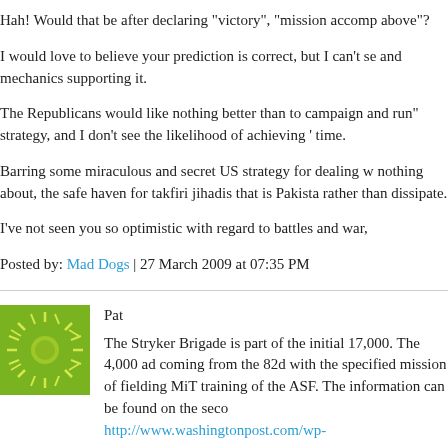Hah! Would that be after declaring "victory", "mission accomp above"?
I would love to believe your prediction is correct, but I can't se and mechanics supporting it.
The Republicans would like nothing better than to campaign and run" strategy, and I don't see the likelihood of achieving ' time.
Barring some miraculous and secret US strategy for dealing w nothing about, the safe haven for takfiri jihadis that is Pakista rather than dissipate.
I've not seen you so optimistic with regard to battles and war,
Posted by: Mad Dogs | 27 March 2009 at 07:35 PM
Pat
The Stryker Brigade is part of the initial 17,000. The 4,000 ad coming from the 82d with the specified mission of fielding MiT training of the ASF. The information can be found on the seco http://www.washingtonpost.com/wp-